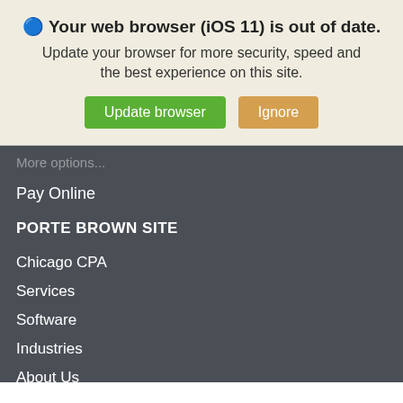🔵 Your web browser (iOS 11) is out of date.
Update your browser for more security, speed and the best experience on this site.
Update browser | Ignore
Pay Online
PORTE BROWN SITE
Chicago CPA
Services
Software
Industries
About Us
Resource Center
Careers
Awards & Accolades
Accounting Webinars
Contact Us